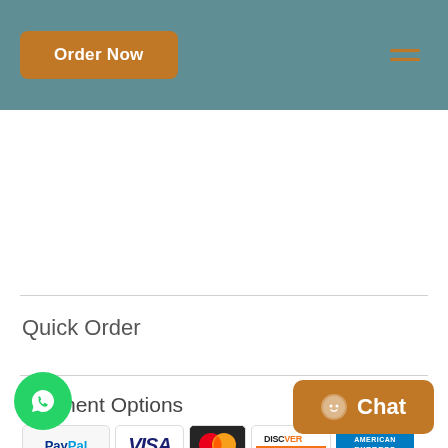Order Now
Quick Order
Payment Options
[Figure (illustration): Row of payment method logos: PayPal, VISA, MasterCard, Discover Network, American Express]
[Figure (illustration): WhatsApp floating button (green circle with phone icon)]
[Figure (illustration): Chat button (brown rounded rectangle with smiley face icon and Chat text)]